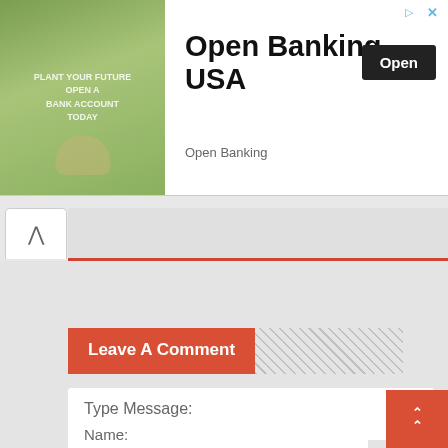[Figure (screenshot): Advertisement banner for Open Banking USA app showing a plant growing from coins image on left, 'Open Banking USA' title in center, 'Open' button on right, and 'Open Banking' subtitle]
Leave A Comment
Type Message:
Name: